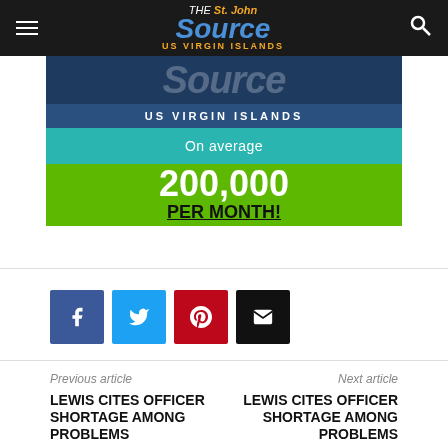The St. John Source — US Virgin Islands
[Figure (infographic): Advertisement banner for The St. John Source showing 'US VIRGIN ISLANDS / On average 200,000 PER MONTH!' on a dark blue, teal, and green background]
[Figure (infographic): Social sharing buttons: Facebook (blue), Twitter (light blue), Pinterest (red), Email (black)]
Previous article
LEWIS CITES OFFICER SHORTAGE AMONG PROBLEMS
Next article
LEWIS CITES OFFICER SHORTAGE AMONG PROBLEMS